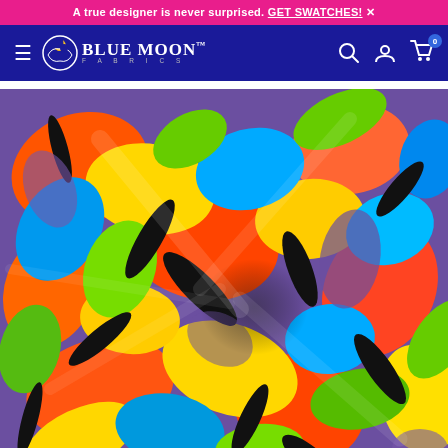A true designer is never surprised. GET SWATCHES!
[Figure (screenshot): Blue Moon Fabrics website navigation bar with logo on navy blue background, search, account, and cart icons]
[Figure (photo): Close-up photo of colorful abstract floral fabric with purple, orange, yellow, green, red, and black pattern, draped and twisted to show texture]